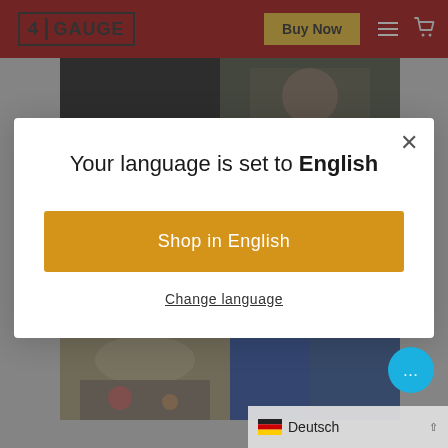[Figure (screenshot): 4Gauge website navigation bar with logo, Buy Now button, hamburger menu, and cart icon on dark red background]
[Figure (photo): Background page content showing partial images of people]
Your language is set to English
Shop in English
Change language
Deutsch